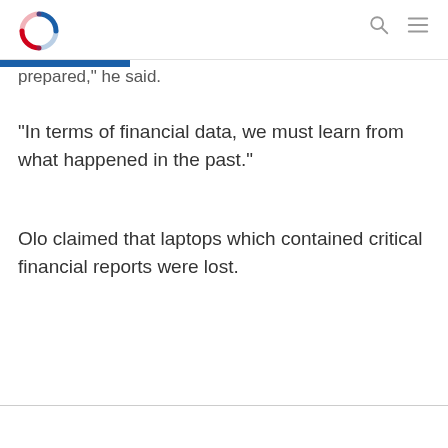[Logo + search/menu icons]
prepared," he said.
“In terms of financial data, we must learn from what happened in the past.”
Olo claimed that laptops which contained critical financial reports were lost.